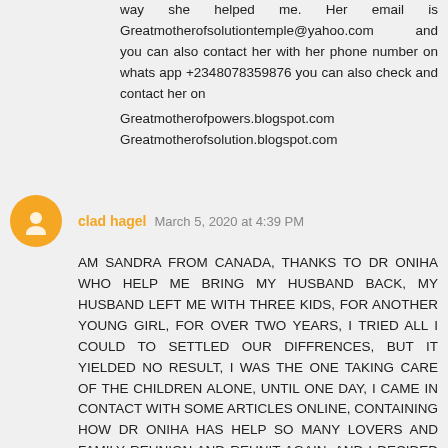way she helped me. Her email is Greatmotherofsolutiontemple@yahoo.com and you can also contact her with her phone number on whats app +2348078359876 you can also check and contact her on Greatmotherofpowers.blogspot.com Greatmotherofsolution.blogspot.com
clad hagel March 5, 2020 at 4:39 PM
AM SANDRA FROM CANADA, THANKS TO DR ONIHA WHO HELP ME BRING MY HUSBAND BACK, MY HUSBAND LEFT ME WITH THREE KIDS, FOR ANOTHER YOUNG GIRL, FOR OVER TWO YEARS, I TRIED ALL I COULD TO SETTLED OUR DIFFRENCES, BUT IT YIELDED NO RESULT, I WAS THE ONE TAKING CARE OF THE CHILDREN ALONE, UNTIL ONE DAY, I CAME IN CONTACT WITH SOME ARTICLES ONLINE, CONTAINING HOW DR ONIHA HAS HELP SO MANY LOVERS AND FAMILY REUNION AND REUNIT AGAIN, AND I DECIDED TO CONTACT HIM, AND HE CAST